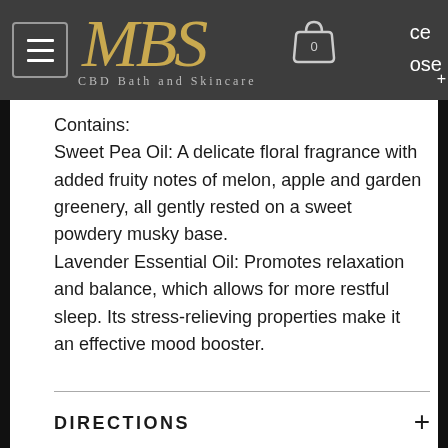MBS CBD Bath and Skincare
Contains:
Sweet Pea Oil:  A delicate floral fragrance with added fruity notes of melon, apple and garden greenery, all gently rested on a sweet powdery musky base.
Lavender Essential Oil:  Promotes relaxation and balance, which allows for more restful sleep. Its stress-relieving properties make it an effective mood booster.
DIRECTIONS